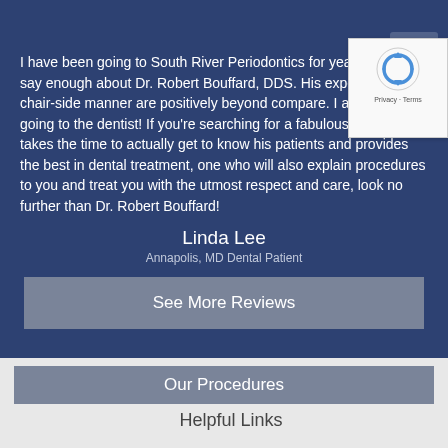I have been going to South River Periodontics for years. I can't say enough about Dr. Robert Bouffard, DDS. His expertise and chair-side manner are positively beyond compare. I actually enjoy going to the dentist! If you're searching for a fabulous dentist who takes the time to actually get to know his patients and provides the best in dental treatment, one who will also explain procedures to you and treat you with the utmost respect and care, look no further than Dr. Robert Bouffard!
Linda Lee
Annapolis, MD Dental Patient
See More Reviews
Our Procedures
Helpful Links